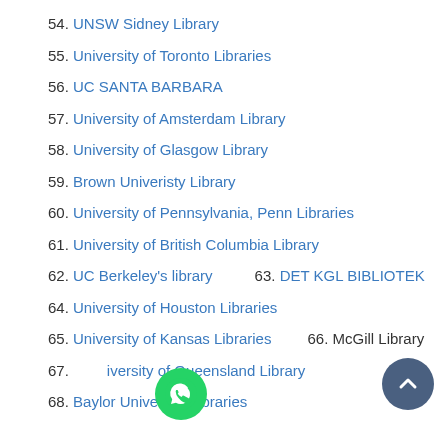54. UNSW Sidney Library
55. University of Toronto Libraries
56. UC SANTA BARBARA
57. University of Amsterdam Library
58. University of Glasgow Library
59. Brown Univeristy Library
60. University of Pennsylvania, Penn Libraries
61. University of British Columbia Library
62. UC Berkeley's library   63. DET KGL BIBLIOTEK
64. University of Houston Libraries
65. University of Kansas Libraries   66. McGill Library
67. University of Queensland Library
68. Baylor University Libraries